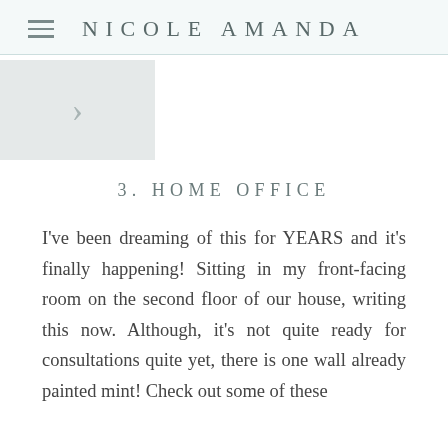NICOLE AMANDA
[Figure (other): Navigation arrow button box pointing right]
3. HOME OFFICE
I've been dreaming of this for YEARS and it's finally happening! Sitting in my front-facing room on the second floor of our house, writing this now. Although, it's not quite ready for consultations quite yet, there is one wall already painted mint! Check out some of these